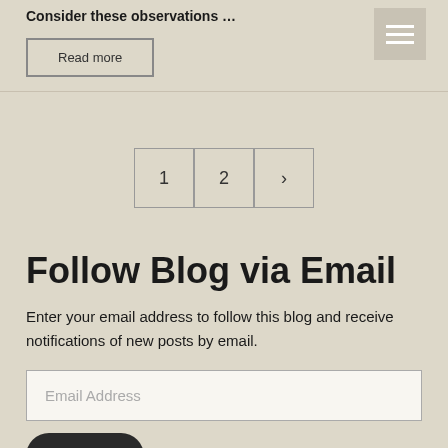Consider these observations …
Read more
[Figure (other): Hamburger menu icon with three horizontal white lines on a tan/beige square background]
1  2  ›
Follow Blog via Email
Enter your email address to follow this blog and receive notifications of new posts by email.
Email Address
Follow